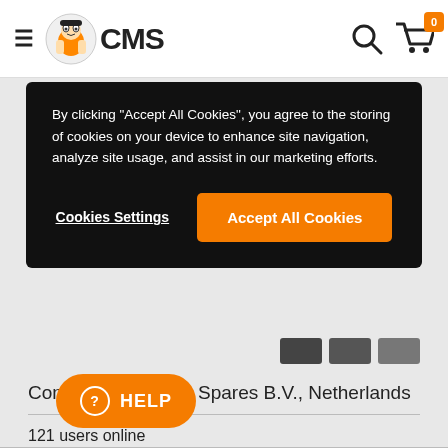CMS - Consolidated Motor Spares
By clicking "Accept All Cookies", you agree to the storing of cookies on your device to enhance site navigation, analyze site usage, and assist in our marketing efforts.
Cookies Settings | Accept All Cookies
Consolidated Motor Spares B.V., Netherlands
121 users online
540233 registered users
1 m
HELP